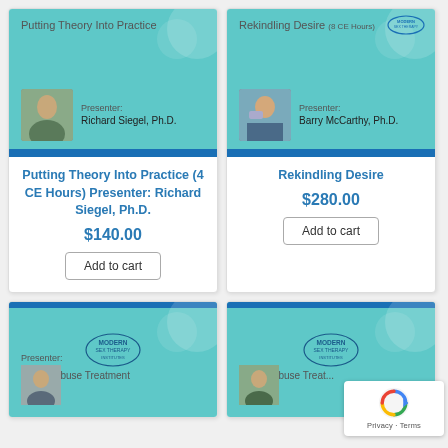[Figure (screenshot): Product card image for 'Putting Theory Into Practice' showing teal background with presenter photo of Richard Siegel, Ph.D.]
Putting Theory Into Practice (4 CE Hours) Presenter: Richard Siegel, Ph.D.
$140.00
Add to cart
[Figure (screenshot): Product card image for 'Rekindling Desire (8 CE Hours)' showing teal background with presenter photo of Barry McCarthy, Ph.D.]
Rekindling Desire
$280.00
Add to cart
[Figure (screenshot): Product card image for 'Sexual Abuse Treatment' showing Modern Sex Therapy Institutes logo on teal background]
[Figure (screenshot): Second product card image for 'Sexual Abuse Treat...' showing Modern Sex Therapy Institutes logo on teal background with reCAPTCHA badge overlay]